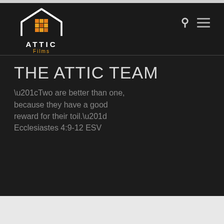[Figure (logo): Attic Films logo: white house outline with orange grid squares inside, text ATTIC in white bold caps and Films in orange below]
THE ATTIC TEAM
“Two are better than one, because they have a good reward for their toil.” Ecclesiastes 4:9-12 ESV